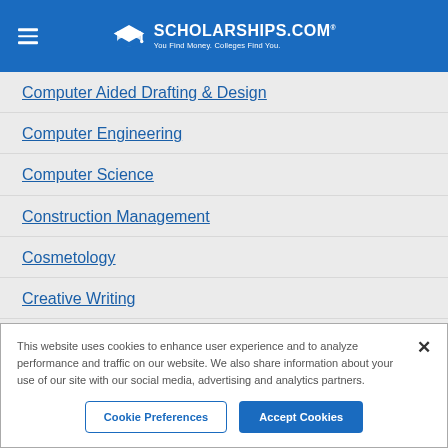SCHOLARSHIPS.COM® — You Find Money. Colleges Find You.
Computer Aided Drafting & Design
Computer Engineering
Computer Science
Construction Management
Cosmetology
Creative Writing
Criminal Justice
This website uses cookies to enhance user experience and to analyze performance and traffic on our website. We also share information about your use of our site with our social media, advertising and analytics partners.
Cookie Preferences | Accept Cookies